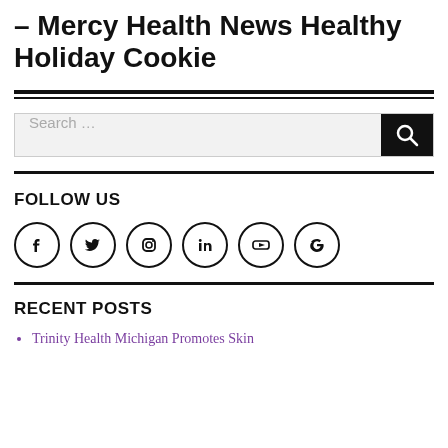– Mercy Health News Healthy Holiday Cookie
[Figure (other): Search bar with text 'Search …' and black search button with magnifying glass icon]
FOLLOW US
[Figure (other): Row of 6 social media icon circles: Facebook, Twitter, Instagram, LinkedIn, YouTube, Google]
RECENT POSTS
Trinity Health Michigan Promotes Skin